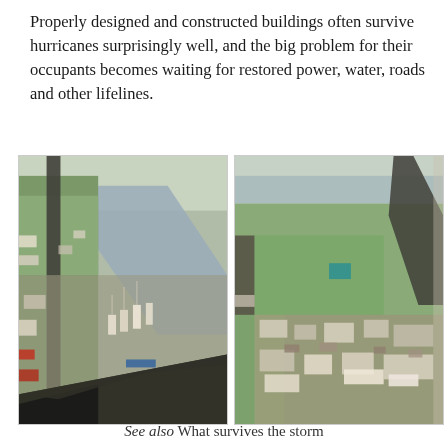Properly designed and constructed buildings often survive hurricanes surprisingly well, and the big problem for their occupants becomes waiting for restored power, water, roads and other lifelines.
[Figure (photo): Aerial photograph taken from helicopter cockpit showing a flooded coastal town with boats moored along a river/channel, damaged buildings, roads and debris after a hurricane.]
[Figure (photo): Aerial photograph showing a coastal community after hurricane damage, with destroyed buildings, debris scattered across lots, damaged roofs, and green fields visible among the destruction.]
See also What survives the storm